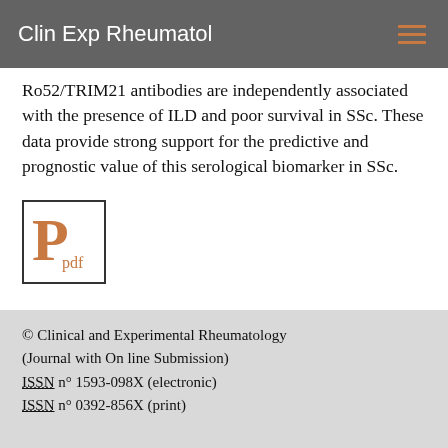Clin Exp Rheumatol
Ro52/TRIM21 antibodies are independently associated with the presence of ILD and poor survival in SSc. These data provide strong support for the predictive and prognostic value of this serological biomarker in SSc.
[Figure (logo): PDF icon with stylized orange P and 'pdf' text inside a square border]
© Clinical and Experimental Rheumatology (Journal with On line Submission) ISSN n° 1593-098X (electronic) ISSN n° 0392-856X (print)